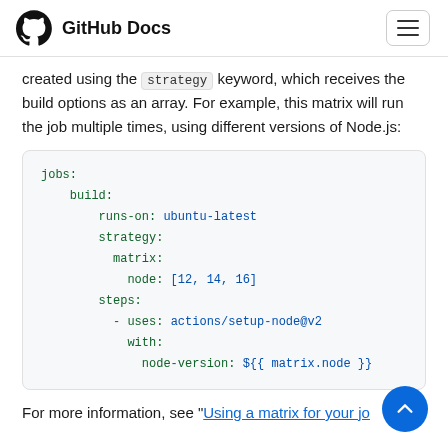GitHub Docs
created using the strategy keyword, which receives the build options as an array. For example, this matrix will run the job multiple times, using different versions of Node.js:
[Figure (screenshot): YAML code block showing jobs: build: runs-on: ubuntu-latest strategy: matrix: node: [12, 14, 16] steps: - uses: actions/setup-node@v2 with: node-version: ${{ matrix.node }}]
For more information, see "Using a matrix for your jo